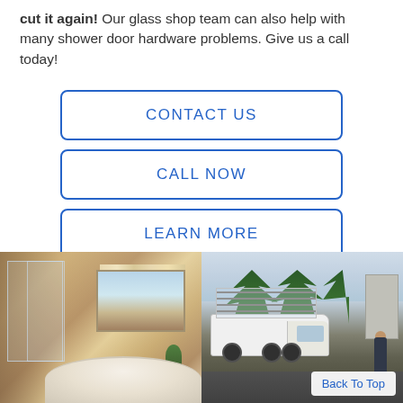cut it again! Our glass shop team can also help with many shower door hardware problems. Give us a call today!
CONTACT US
CALL NOW
LEARN MORE
[Figure (photo): Two photos side by side: left shows a bathroom interior with glass shower doors, a window with curtain, and a soaking tub; right shows a company truck with glass rack and an employee standing beside it in a parking lot with trees in the background.]
Back To Top